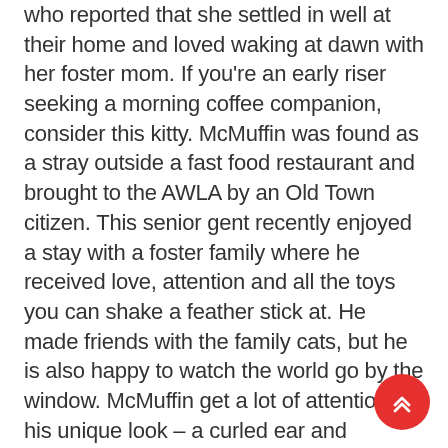who reported that she settled in well at their home and loved waking at dawn with her foster mom. If you're an early riser seeking a morning coffee companion, consider this kitty. McMuffin was found as a stray outside a fast food restaurant and brought to the AWLA by an Old Town citizen. This senior gent recently enjoyed a stay with a foster family where he received love, attention and all the toys you can shake a feather stick at. He made friends with the family cats, but he is also happy to watch the world go by the window. McMuffin get a lot of attention for his unique look – a curled ear and freckled nose – and he's hoping his endearing appearance will help him find his new family. Thanks to a generous donor, McMuffin's adoptions fees have been waived